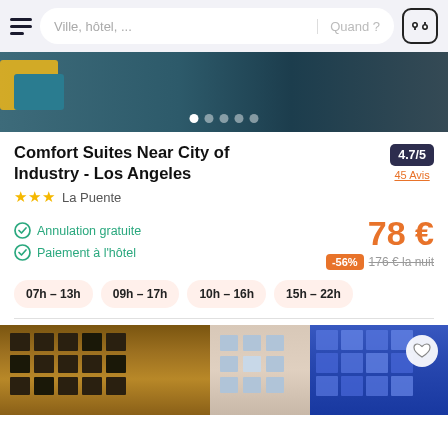Ville, hôtel, ...   Quand ?
[Figure (photo): Hotel interior photo showing teal sofa with yellow pillow, with carousel dots overlay]
Comfort Suites Near City of Industry - Los Angeles
4.7/5
45 Avis
★★★  La Puente
Annulation gratuite
Paiement à l'hôtel
78 €
-56%  176 € la nuit
07h – 13h   09h – 17h   10h – 16h   15h – 22h
[Figure (photo): City buildings — brick building on left, light stone building center, modern glass building on right under blue sky]